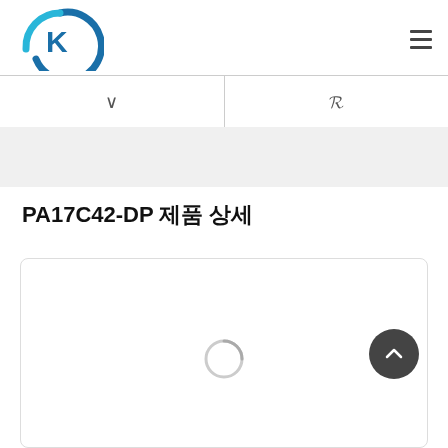K logo / navigation header
| (partial row visible) | (partial row visible) |
PA17C42-DP 제품 상세
[Figure (screenshot): White content card with loading spinner in center and back-to-top circular button on right side]